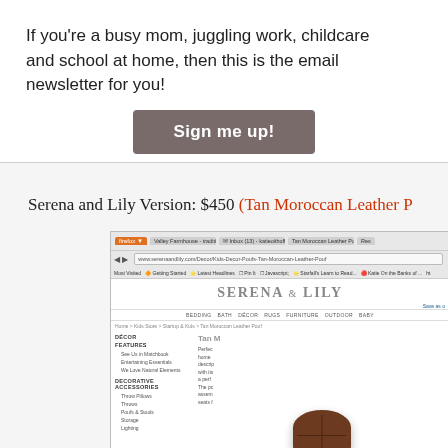If you're a busy mom, juggling work, childcare and school at home, then this is the email newsletter for you!
Sign me up!
Serena and Lily Version: $450 (Tan Moroccan Leather P...
[Figure (screenshot): Screenshot of the Serena & Lily website showing the Tan Moroccan Leather Pouf product page, with navigation bar, Serena & Lily logo, sidebar categories including Décor, Features, Decorative Accessories, and a brown leather pouf image.]